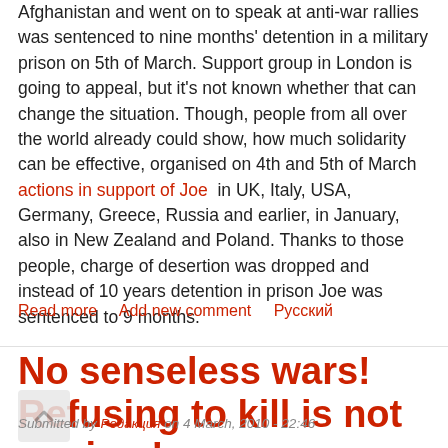Afghanistan and went on to speak at anti-war rallies was sentenced to nine months' detention in a military prison on 5th of March. Support group in London is going to appeal, but it's not known whether that can change the situation. Though, people from all over the world already could show, how much solidarity can be effective, organised on 4th and 5th of March actions in support of Joe in UK, Italy, USA, Germany, Greece, Russia and earlier, in January, also in New Zealand and Poland. Thanks to those people, charge of desertion was dropped and instead of 10 years detention in prison Joe was sentenced to 9 months.
Read more   Add new comment   Русский
No senseless wars! Refusing to kill is not a crime!
Submitted by Редакция on 4 March, 2010 - 22:46